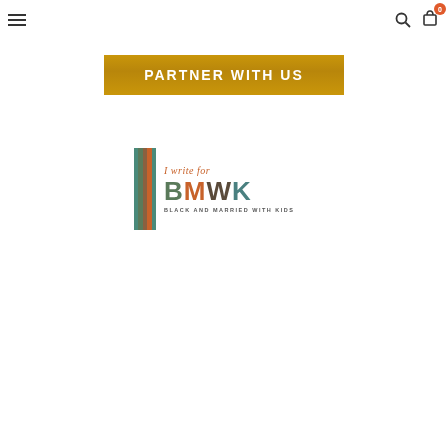[Figure (screenshot): Website navigation bar with hamburger menu icon on left, search icon and shopping cart icon with badge '0' on right]
[Figure (logo): PARTNER WITH US banner with gold/yellow background and white bold uppercase text]
[Figure (logo): BMWK 'I write for Black and Married with Kids' logo with colored vertical stripes and branded text]